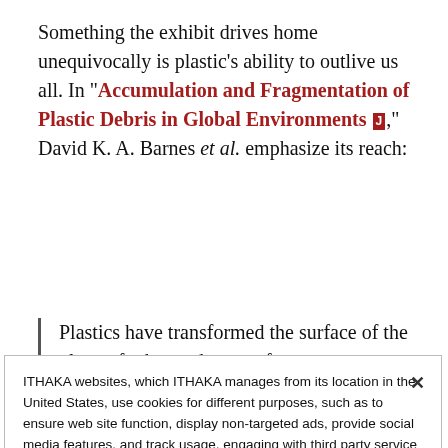Something the exhibit drives home unequivocally is plastic's ability to outlive us all. In "Accumulation and Fragmentation of Plastic Debris in Global Environments [J]," David K. A. Barnes et al. emphasize its reach:
Plastics have transformed the surface of the planet, far beyond areas of
ITHAKA websites, which ITHAKA manages from its location in the United States, use cookies for different purposes, such as to ensure web site function, display non-targeted ads, provide social media features, and track usage, engaging with third party service providers such as Google Analytics. You may manage non-essential cookies in "Cookie Settings". For more information, please see our Cookie Policy.
Cookie Settings | OK, proceed